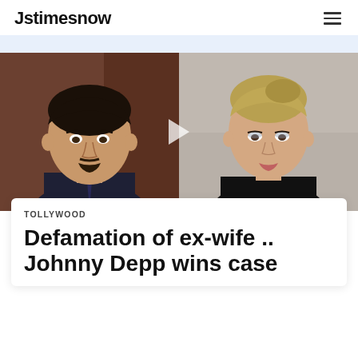Jstimesnow
[Figure (photo): Split photo showing Johnny Depp on the left (dark hair, goatee, suit) and Amber Heard on the right (blonde updo, dark clothing), with a play button overlay in the center, taken at a courtroom setting]
TOLLYWOOD
Defamation of ex-wife .. Johnny Depp wins case